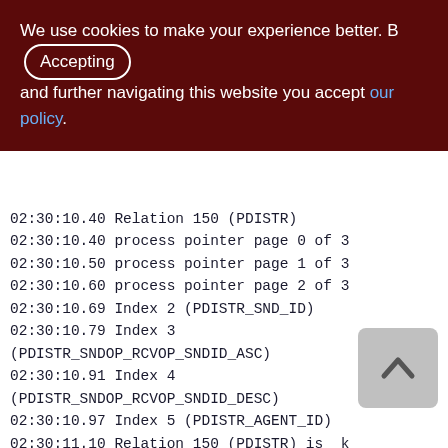We use cookies to make your experience better. By Accepting and further navigating this website you accept our policy.
02:30:10.40 Relation 150 (PDISTR)
02:30:10.40 process pointer page 0 of 3
02:30:10.50 process pointer page 1 of 3
02:30:10.60 process pointer page 2 of 3
02:30:10.69 Index 2 (PDISTR_SND_ID)
02:30:10.79 Index 3 (PDISTR_SNDOP_RCVOP_SNDID_ASC)
02:30:10.91 Index 4 (PDISTR_SNDOP_RCVOP_SNDID_DESC)
02:30:10.97 Index 5 (PDISTR_AGENT_ID)
02:30:11.10 Relation 150 (PDISTR) is k
02:30:11.10 Relation 151 (PSTORNED)